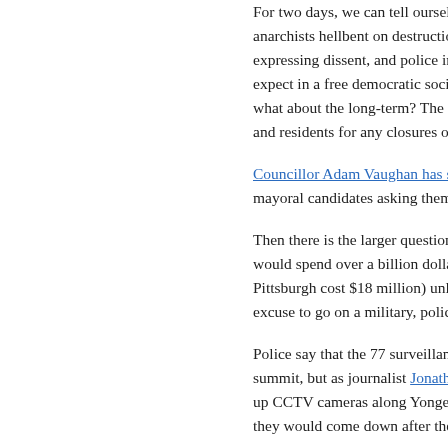For two days, we can tell ourselves that the protestors were all anarchists hellbent on destruction, that there is no legitimate way of expressing dissent, and police intimidation is not something we should expect in a free democratic society, what about the long-term? The federal government compensate businesses and residents for any closures or damages.
Councillor Adam Vaughan has started a petition to all mayoral candidates asking them to respond.
Then there is the larger question of why the federal government would spend over a billion dollars in Toronto (by comparison the G20 in Pittsburgh cost $18 million) unless— excuse to go on a military, police, and surveillance spending spree.
Police say that the 77 surveillance cameras installed for the summit, but as journalist Jonathan C— up CCTV cameras along Yonge Street, they would come down after the festival.